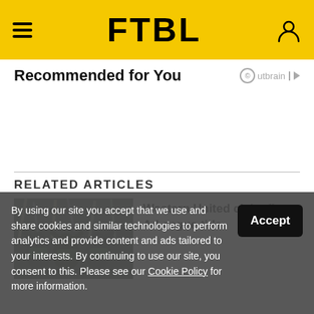FTBL
Recommended for You
[Figure (other): Outbrain logo]
RELATED ARTICLES
[Figure (photo): Western United FC players celebrating with trophy and confetti]
Western United claim first A-League title
By using our site you accept that we use and share cookies and similar technologies to perform analytics and provide content and ads tailored to your interests. By continuing to use our site, you consent to this. Please see our Cookie Policy for more information.